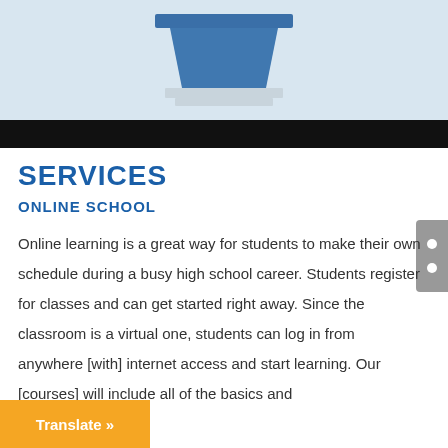[Figure (illustration): Illustration of a blue podium/lectern on a light blue background, with a black banner at the bottom of the image.]
SERVICES
ONLINE SCHOOL
Online learning is a great way for students to make their own schedule during a busy high school career. Students register for classes and can get started right away. Since the classroom is a virtual one, students can log in from anywhere [with] internet access and start learning. Our [courses] will include all of the basics and